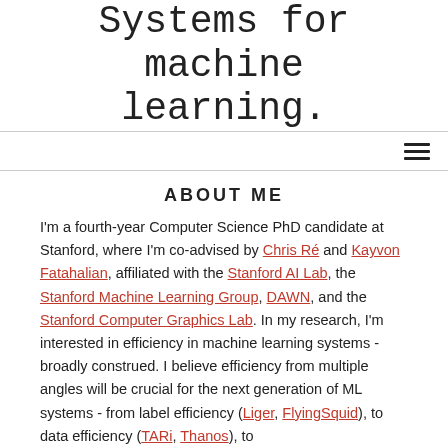Systems for machine learning.
ABOUT ME
I'm a fourth-year Computer Science PhD candidate at Stanford, where I'm co-advised by Chris Ré and Kayvon Fatahalian, affiliated with the Stanford AI Lab, the Stanford Machine Learning Group, DAWN, and the Stanford Computer Graphics Lab. In my research, I'm interested in efficiency in machine learning systems - broadly construed. I believe efficiency from multiple angles will be crucial for the next generation of ML systems - from label efficiency (Liger, FlyingSquid), to data efficiency (TARi, Thanos), to